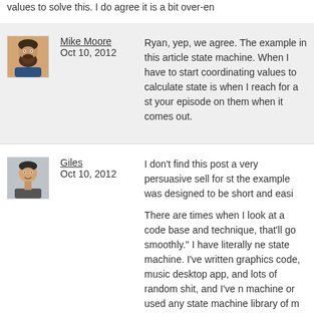values to solve this. I do agree it is a bit over-en
Mike Moore
Oct 10, 2012
Ryan, yep, we agree. The example in this article state machine. When I have to start coordinating values to calculate state is when I reach for a st your episode on them when it comes out.
Giles
Oct 10, 2012
I don't find this post a very persuasive sell for st the example was designed to be short and easi

There are times when I look at a code base and technique, that'll go smoothly." I have literally ne state machine. I've written graphics code, music desktop app, and lots of random shit, and I've n machine or used any state machine library of m the classics of programming, although definitely tell you what the point of a state machine is. I di categorized state machines under "things I will n very long time ago, and since then I have built a spanning decades, without once re-assessing th